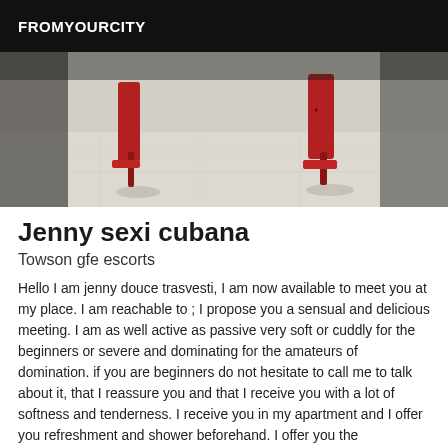FROMYOURCITY
[Figure (photo): Photo showing red high-heel shoes on a light tiled floor surface]
Jenny sexi cubana
Towson gfe escorts
Hello I am jenny douce trasvesti, I am now available to meet you at my place. I am reachable to ; I propose you a sensual and delicious meeting. I am as well active as passive very soft or cuddly for the beginners or severe and dominating for the amateurs of domination. if you are beginners do not hesitate to call me to talk about it, that I reassure you and that I receive you with a lot of softness and tenderness. I receive you in my apartment and I offer you refreshment and shower beforehand. I offer you the opportunity to discuss and listen before taking action and fully respond to your desires. I have an